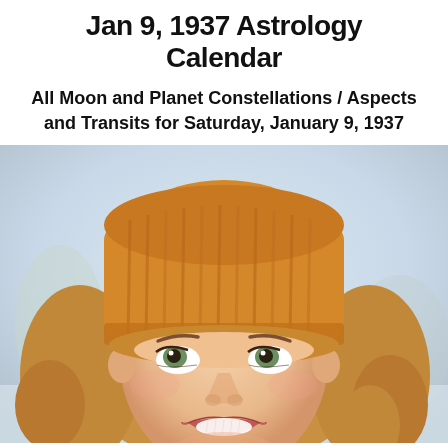Jan 9, 1937 Astrology Calendar
All Moon and Planet Constellations / Aspects and Transits for Saturday, January 9, 1937
[Figure (photo): Close-up photo of a smiling young woman with curly blonde hair wearing a yellow/mustard knit beanie hat, looking upward and to the left, photographed outdoors in what appears to be a winter or snowy setting with blurred background.]